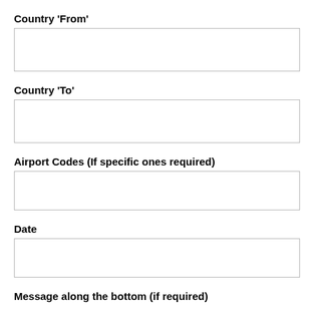Country 'From'
[input field]
Country 'To'
[input field]
Airport Codes (If specific ones required)
[input field]
Date
[input field]
Message along the bottom (if required)